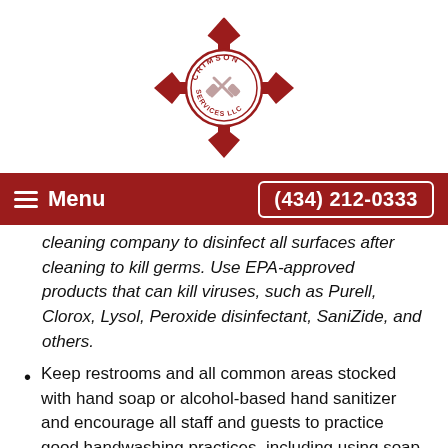[Figure (logo): Crimson Services LLC logo: a red Maltese cross shape with tools (hammer and other implements) and a circular badge in the center with text 'CRIMSON SERVICES LLC']
Menu  (434) 212-0333
cleaning company to disinfect all surfaces after cleaning to kill germs. Use EPA-approved products that can kill viruses, such as Purell, Clorox, Lysol, Peroxide disinfectant, SaniZide, and others.
Keep restrooms and all common areas stocked with hand soap or alcohol-based hand sanitizer and encourage all staff and guests to practice good handwashing practices, including using soap and water and scrubbing hands for at least 20 seconds.
In addition, call Crimson Services LLC for a free on-